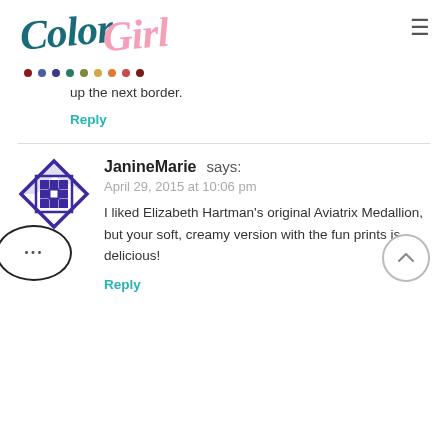[Figure (logo): ColorGirl blog logo with decorative script text and colored dots row]
up the next border.
Reply
JanineMarie says:
April 29, 2015 at 10:06 pm
I liked Elizabeth Hartman's original Aviatrix Medallion, but your soft, creamy version with the fun prints is delicious!
Reply